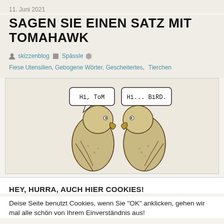11. Juni 2021
SAGEN SIE EINEN SATZ MIT TOMAHAWK
skizzenblog  Spässle  Fiese Utensilien, Gebogene Wörter, Gescheitertes, Tierchen
[Figure (illustration): Hand-drawn illustration of two birds (hawks/falcons) facing each other with speech bubbles. Left bird says 'Hi, ToM' and right bird says 'Hi... BiRD.']
HEY, HURRA, AUCH HIER COOKIES!
Deise Seite benutzt Cookies, wenn Sie "OK" anklicken, gehen wir mal alle schön von Ihrem Einverständnis aus!
Einstellungen  OK